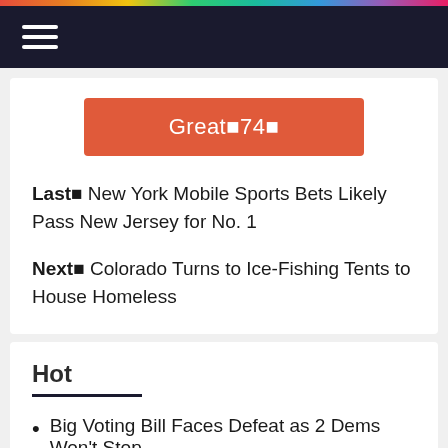Navigation bar with hamburger menu
[Figure (other): Orange/red button with text 'Great 74 ']
Last  New York Mobile Sports Bets Likely Pass New Jersey for No. 1
Next  Colorado Turns to Ice-Fishing Tents to House Homeless
Hot
Big Voting Bill Faces Defeat as 2 Dems Won't Stop
Smithsonian to Show 120 Orange Statues of